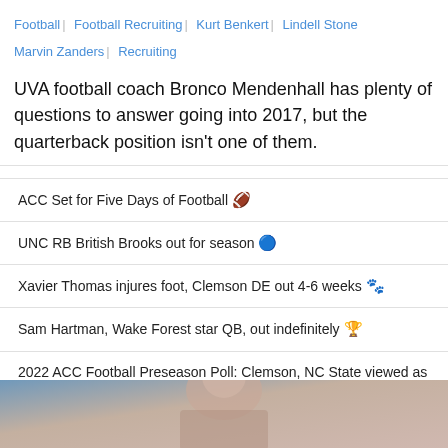Football | Football Recruiting | Kurt Benkert | Lindell Stone | Marvin Zanders | Recruiting
UVA football coach Bronco Mendenhall has plenty of questions to answer going into 2017, but the quarterback position isn't one of them.
ACC Set for Five Days of Football 🏈
UNC RB British Brooks out for season 🔵
Xavier Thomas injures foot, Clemson DE out 4-6 weeks 🐾
Sam Hartman, Wake Forest star QB, out indefinitely 🏆
2022 ACC Football Preseason Poll: Clemson, NC State viewed as Top 2 teams 🏈
[Figure (photo): Bottom strip photo of a football player, partially visible]